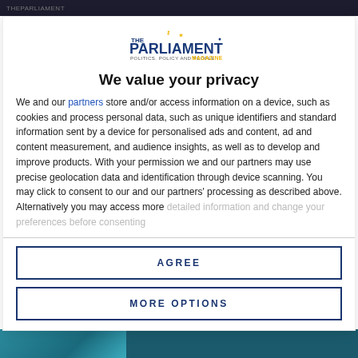THE PARLIAMENT MAGAZINE - Politics, Policy and People
[Figure (logo): The Parliament Magazine logo - Politics, Policy and People Magazine with EU stars]
We value your privacy
We and our partners store and/or access information on a device, such as cookies and process personal data, such as unique identifiers and standard information sent by a device for personalised ads and content, ad and content measurement, and audience insights, as well as to develop and improve products. With your permission we and our partners may use precise geolocation data and identification through device scanning. You may click to consent to our and our partners' processing as described above. Alternatively you may access more detailed information and change your preferences before consenting
AGREE
MORE OPTIONS